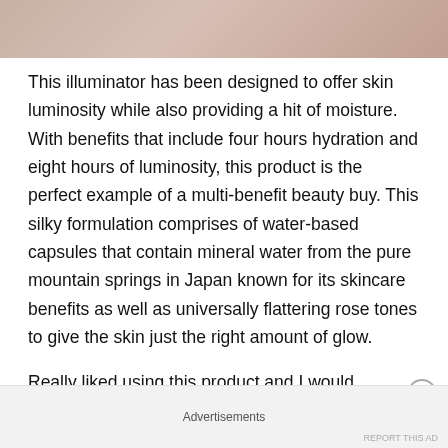[Figure (photo): Close-up photo of skin texture, showing the top portion cropped at the top of the page.]
This illuminator has been designed to offer skin luminosity while also providing a hit of moisture. With benefits that include four hours hydration and eight hours of luminosity, this product is the perfect example of a multi-benefit beauty buy. This silky formulation comprises of water-based capsules that contain mineral water from the pure mountain springs in Japan known for its skincare benefits as well as universally flattering rose tones to give the skin just the right amount of glow.
Really liked using this product and I would
Advertisements